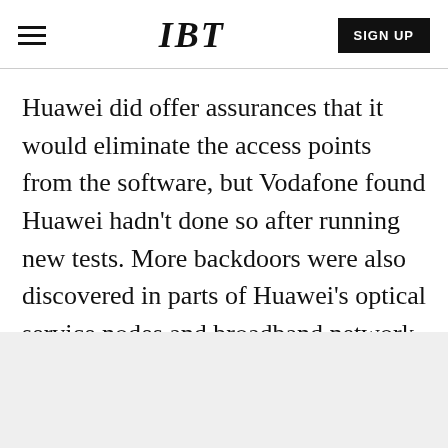IBT | SIGN UP
Huawei did offer assurances that it would eliminate the access points from the software, but Vodafone found Huawei hadn’t done so after running new tests. More backdoors were also discovered in parts of Huawei’s optical service nodes and broadband network gateways.